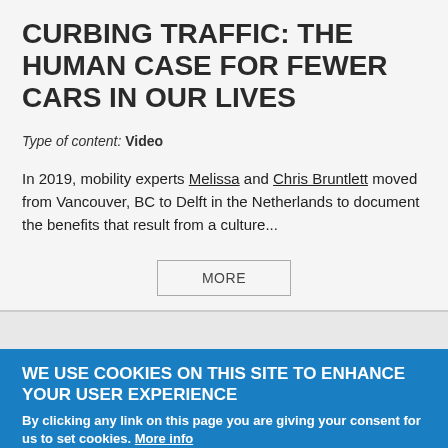CURBING TRAFFIC: THE HUMAN CASE FOR FEWER CARS IN OUR LIVES
Type of content: Video
In 2019, mobility experts Melissa and Chris Bruntlett moved from Vancouver, BC to Delft in the Netherlands to document the benefits that result from a culture...
MORE
SMART GROWTH NETWORK
WE USE COOKIES ON THIS SITE TO ENHANCE YOUR USER EXPERIENCE
By clicking any link on this page you are giving your consent for us to set cookies. More info